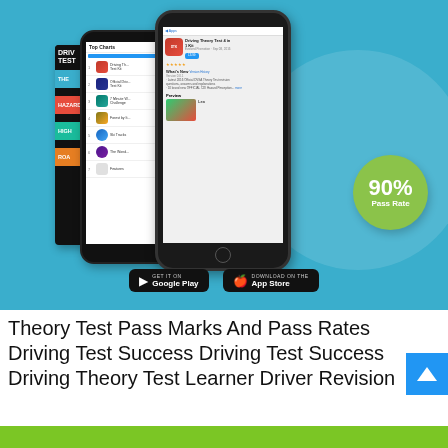[Figure (screenshot): Promotional banner for a Driving Theory Test app on a teal background. Shows a smartphone displaying the app's App Store page, a second phone showing Top Charts, and a book/app spine. A green circle badge reads '90% Pass Rate'. Google Play and App Store download buttons are shown at the bottom.]
Theory Test Pass Marks And Pass Rates Driving Test Success Driving Test Success Driving Theory Test Learner Driver Revision